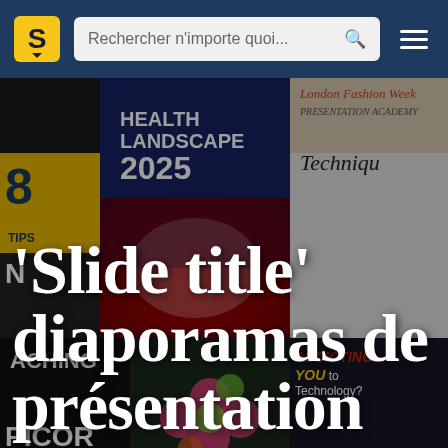[Figure (screenshot): Website screenshot of a SlideShare-like platform showing a navigation bar with logo, search bar, hamburger menu, and a collage background of presentation covers with a large French text overlay reading 'Slide title diaporamas de présentation']
Rechercher n'importe quoi...
'Slide title' diaporamas de présentation